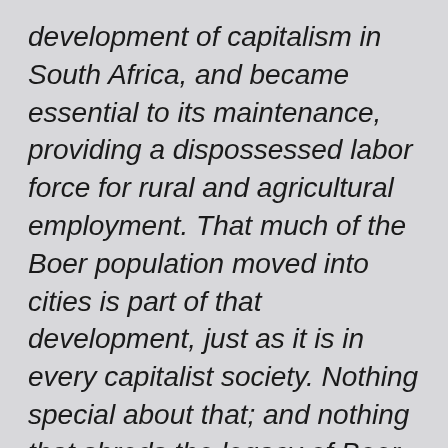development of capitalism in South Africa, and became essential to its maintenance, providing a dispossessed labor force for rural and agricultural employment. That much of the Boer population moved into cities is part of that development, just as it is in every capitalist society. Nothing special about that; and nothing that shreds the legacy of Boer ideology and activity.

The power of the Boer ideology was predominant in South Africa, regardless of the numbers involved in actual farming; just as the ideology of the “happy, pre-Civil War